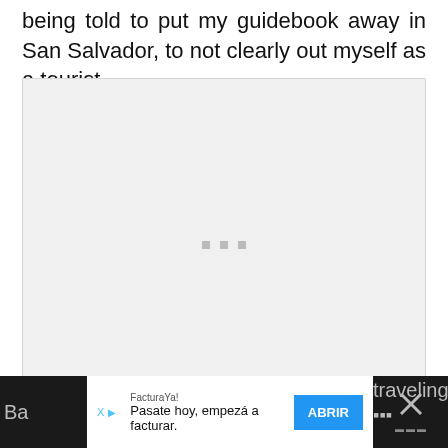being told to put my guidebook away in San Salvador, to not clearly out myself as a tourist.
[Figure (photo): A large light gray image placeholder with three small gray square dots centered in the middle, indicating a loading or missing image.]
Ba... traveling ...